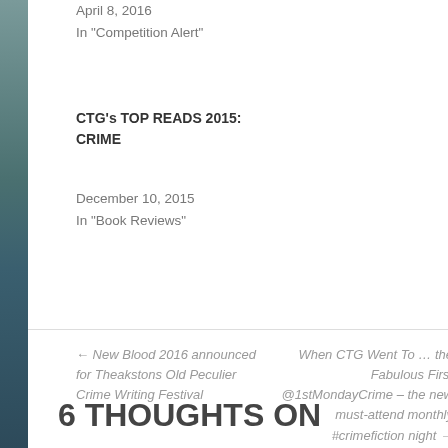April 8, 2016
In "Competition Alert"
CTG's TOP READS 2015: CRIME
December 10, 2015
In "Book Reviews"
← New Blood 2016 announced for Theakstons Old Peculier Crime Writing Festival
When CTG Went To … the Fabulous First @1stMondayCrime – the new must-attend monthly #crimefiction night →
6 THOUGHTS ON